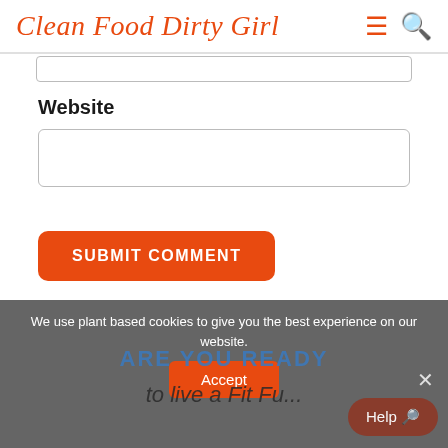Clean Food Dirty Girl
Website
SUBMIT COMMENT
We use plant based cookies to give you the best experience on our website.
ARE YOU READY
to live a Fit Fu... Life?